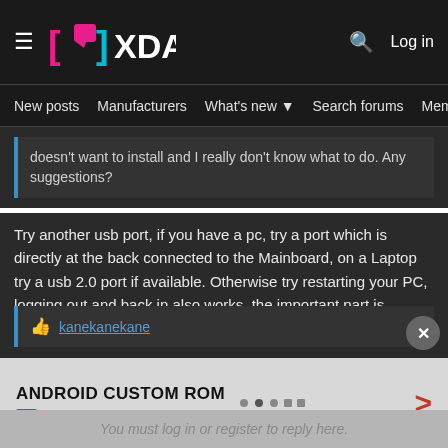XDA — New posts | Manufacturers | What's new | Search forums | Members | Log in
doesn't want to install and I really don't know what to do. Any suggestions?
Try another usb port, if you have a pc, try a port which is directly at the back connected to the Mainboard, on a Laptop try a usb 2.0 port if available. Otherwise try restarting your PC, logging out and back in also works, the important part is restating the adb daemon and the reinitialization of the windows usb driver. Also try to install the shield driver again from the Device Manager.
kanekanekane
ANDROID CUSTOM ROM | Ad | An AMG Site
You must log in or register to reply here.